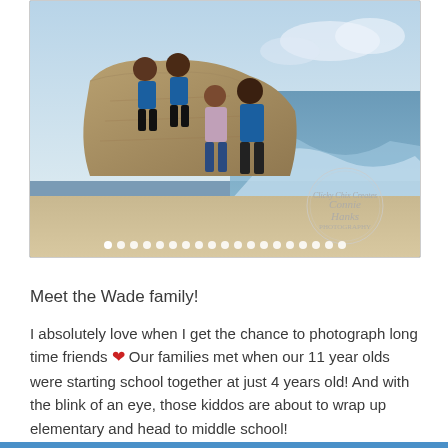[Figure (photo): Family photo of the Wade family on a beach. Two boys in blue shirts sit on a rock, a woman in a floral top and a man in a blue shirt stand behind them. Waves crash in the background. A watermark reads 'Clicky Chix Creates - Connie Hanks Photography'. Carousel dots are visible at the bottom of the image.]
Meet the Wade family!
I absolutely love when I get the chance to photograph long time friends ❤ Our families met when our 11 year olds were starting school together at just 4 years old! And with the blink of an eye, those kiddos are about to wrap up elementary and head to middle school!